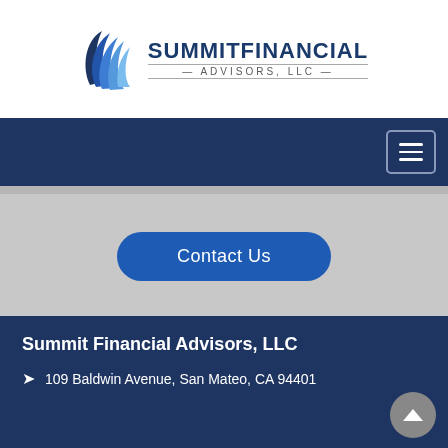[Figure (logo): Summit Financial Advisors, LLC logo with a stylized blue wing/flame graphic and company name text]
[Figure (other): Dark navy navigation bar with hamburger menu icon (three horizontal lines) in top right]
Contact Us
Summit Financial Advisors, LLC
109 Baldwin Avenue, San Mateo, CA 94401
Check the background of this investment professional on FINRA's BrokerCheck »